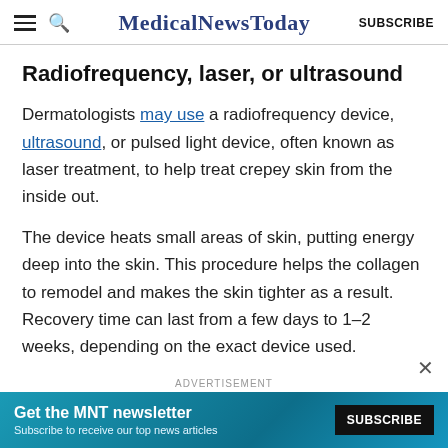MedicalNewsToday SUBSCRIBE
Radiofrequency, laser, or ultrasound
Dermatologists may use a radiofrequency device, ultrasound, or pulsed light device, often known as laser treatment, to help treat crepey skin from the inside out.
The device heats small areas of skin, putting energy deep into the skin. This procedure helps the collagen to remodel and makes the skin tighter as a result. Recovery time can last from a few days to 1–2 weeks, depending on the exact device used.
[Figure (infographic): Advertisement banner for MNT newsletter: 'Get the MNT newsletter – Subscribe to receive our top news articles' with a SUBSCRIBE button on dark background, teal/blue background with globe graphic.]